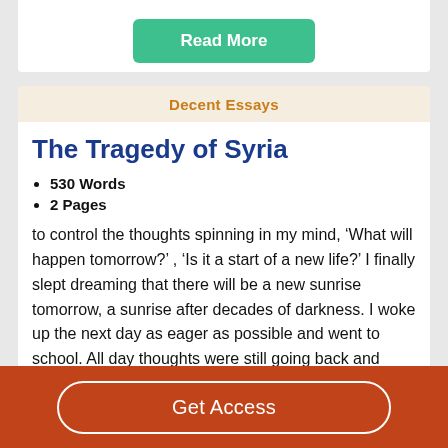Read More
Decent Essays
The Tragedy of Syria
530 Words
2 Pages
to control the thoughts spinning in my mind, ‘What will happen tomorrow?’ , ‘Is it a start of a new life?’ I finally slept dreaming that there will be a new sunrise tomorrow, a sunrise after decades of darkness. I woke up the next day as eager as possible and went to school. All day thoughts were still going back and forth, ‘Will we be able to make it?’ I think I
Get Access